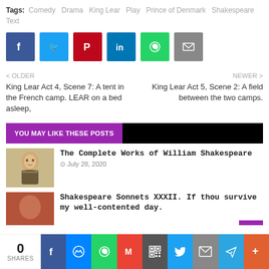Tags: Comedy  Drama  King Lear  Play  Prince of Denmark  Shakespeare  Text
[Figure (infographic): Social share buttons: Facebook (blue), Twitter (light blue), Pinterest (red), LinkedIn (blue), WhatsApp (green), Email (grey)]
< OLDER
King Lear Act 4, Scene 7: A tent in the French camp. LEAR on a bed asleep,
NEWER >
King Lear Act 5, Scene 2: A field between the two camps.
YOU MAY LIKE THESE POSTS
[Figure (photo): Portrait of William Shakespeare engraving]
The Complete Works of William Shakespeare
July 28, 2020
[Figure (photo): Partial image of second Shakespeare-related post thumbnail]
Shakespeare Sonnets XXXII. If thou survive my well-contented day.
[Figure (infographic): Bottom share bar with 0 SHARES, and icons: Facebook, Messenger, WhatsApp, Gmail, QR, Twitter, Email, Telegram, More]